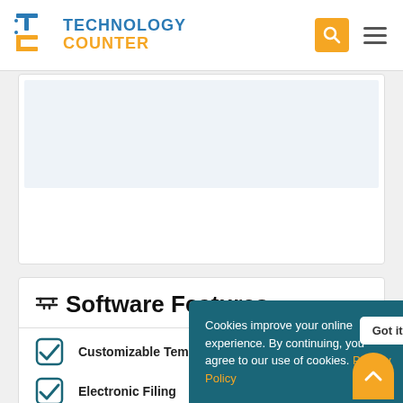Technology Counter
[Figure (screenshot): Partially visible upper card with a light blue content area]
Software Features
Customizable Templates
Electronic Filing
Tax Calculator
Tr...
M...
Cookies improve your online experience. By continuing, you agree to our use of cookies. Privacy Policy